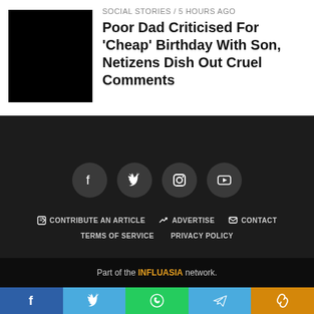[Figure (photo): Black thumbnail image placeholder for article]
SOCIAL STORIES / 5 hours ago
Poor Dad Criticised For 'Cheap' Birthday With Son, Netizens Dish Out Cruel Comments
[Figure (infographic): Dark footer section with social media icons (Facebook, Twitter, Instagram, YouTube) and navigation links: CONTRIBUTE AN ARTICLE, ADVERTISE, CONTACT, TERMS OF SERVICE, PRIVACY POLICY]
Part of the INFLUASIA network.
[Figure (infographic): Share bar with Facebook, Twitter, WhatsApp, Telegram, and copy-link buttons]